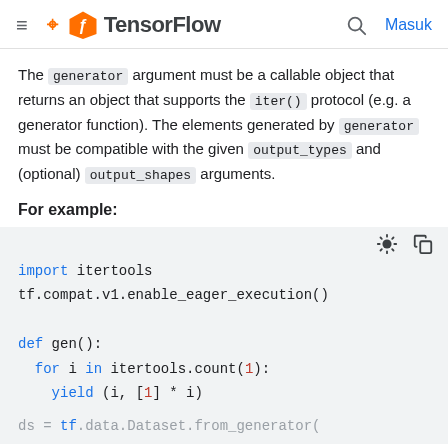TensorFlow — Masuk
The generator argument must be a callable object that returns an object that supports the iter() protocol (e.g. a generator function). The elements generated by generator must be compatible with the given output_types and (optional) output_shapes arguments.
For example:
[Figure (screenshot): Code block showing Python code: import itertools, tf.compat.v1.enable_eager_execution(), def gen():, for i in itertools.count(1):, yield (i, [1] * i)]